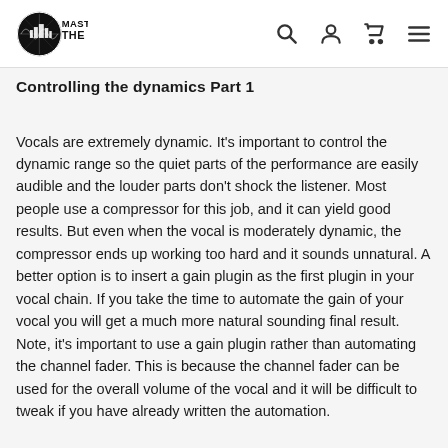Mastering The Mix
Controlling the dynamics Part 1
Vocals are extremely dynamic. It's important to control the dynamic range so the quiet parts of the performance are easily audible and the louder parts don't shock the listener. Most people use a compressor for this job, and it can yield good results. But even when the vocal is moderately dynamic, the compressor ends up working too hard and it sounds unnatural. A better option is to insert a gain plugin as the first plugin in your vocal chain. If you take the time to automate the gain of your vocal you will get a much more natural sounding final result. Note, it's important to use a gain plugin rather than automating the channel fader. This is because the channel fader can be used for the overall volume of the vocal and it will be difficult to tweak if you have already written the automation.